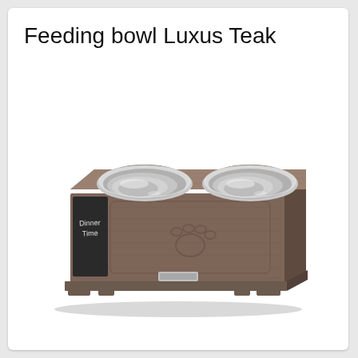Feeding bowl Luxus Teak
[Figure (photo): A luxury teak wood elevated pet feeding station with two large stainless steel bowls set into the top surface. The wooden box has a dark grayish-brown finish with visible wood grain texture, a chalkboard panel on the left side with 'Dinner Time' written in white chalk, a carved paw print design on the front panel, small feet/legs at the bottom corners, and a small silver nameplate on the front base. The two stainless steel bowls are round with a polished metallic interior finish.]